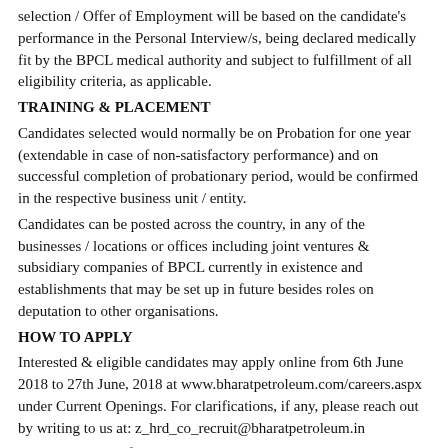selection / Offer of Employment will be based on the candidate's performance in the Personal Interview/s, being declared medically fit by the BPCL medical authority and subject to fulfillment of all eligibility criteria, as applicable.
TRAINING & PLACEMENT
Candidates selected would normally be on Probation for one year (extendable in case of non-satisfactory performance) and on successful completion of probationary period, would be confirmed in the respective business unit / entity.
Candidates can be posted across the country, in any of the businesses / locations or offices including joint ventures & subsidiary companies of BPCL currently in existence and establishments that may be set up in future besides roles on deputation to other organisations.
HOW TO APPLY
Interested & eligible candidates may apply online from 6th June 2018 to 27th June, 2018 at www.bharatpetroleum.com/careers.aspx under Current Openings. For clarifications, if any, please reach out by writing to us at: z_hrd_co_recruit@bharatpetroleum.in
Commencement of on-line Applications June 6, 2018
Last date for submission of on-line Applications June 27, 2018